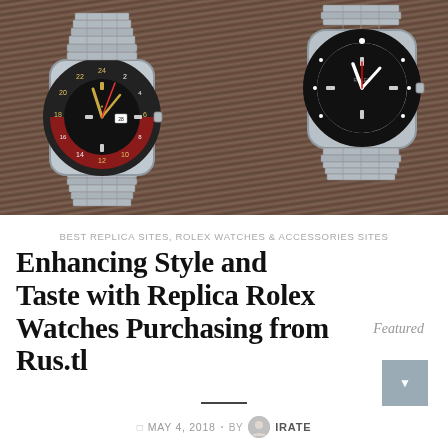[Figure (photo): Two vintage Rolex watches placed on a wooden surface. Left watch is a GMT Master with black and red bezel and jubilee bracelet. Right watch is a Submariner with black dial and oyster bracelet.]
BEST REPLICA SITES, ROLEX WATCHES & ACCESSORIES SITES
Enhancing Style and Taste with Replica Rolex Watches Purchasing from Rus.tl
Featured
MAY 4, 2018 · BY IRATE